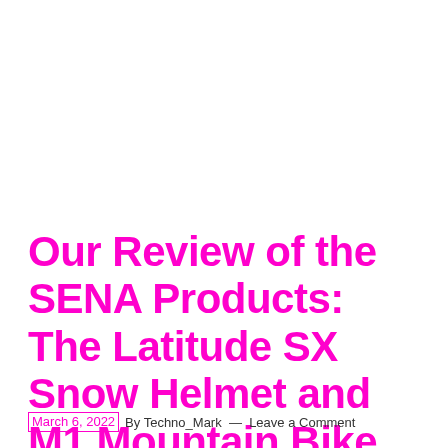Our Review of the SENA Products: The Latitude SX Snow Helmet and M1 Mountain Bike Helmet
March 6, 2022 By Techno_Mark — Leave a Comment